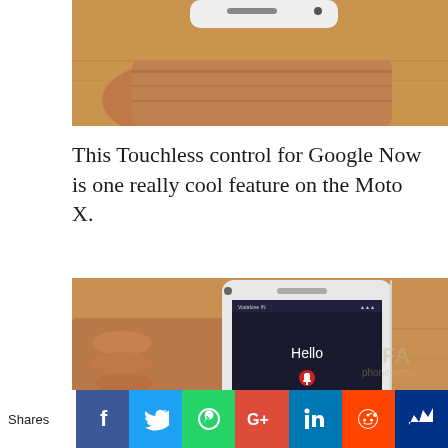[Figure (photo): Hand holding a white Moto X smartphone from top, tan wooden surface background]
This Touchless control for Google Now is one really cool feature on the Moto X.
[Figure (photo): Hand holding a white Moto X smartphone displaying 'Hello' on screen with Google Now listening interface, say help me for a list of options, watermark phonearena visible]
Shares
[Figure (infographic): Social share bar with Facebook, Twitter, WhatsApp, Google+, LinkedIn, Reddit, and Meerkat buttons]